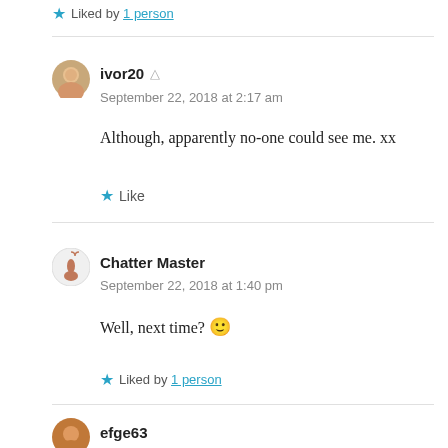Liked by 1 person
ivor20
September 22, 2018 at 2:17 am
Although, apparently no-one could see me. xx
Like
Chatter Master
September 22, 2018 at 1:40 pm
Well, next time? 🙂
Liked by 1 person
efge63